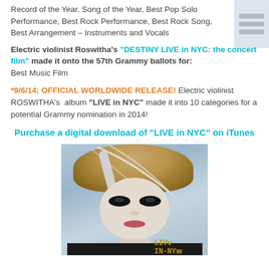Record of the Year, Song of the Year, Best Pop Solo Performance, Best Rock Performance, Best Rock Song, Best Arrangement – Instruments and Vocals
Electric violinist Roswitha's "DESTINY LIVE in NYC: the concert film" made it onto the 57th Grammy ballots for: Best Music Film
*9/6/14: OFFICIAL WORLDWIDE RELEASE! Electric violinist ROSWITHA's album "LIVE in NYC" made it into 10 categories for a potential Grammy nomination in 2014!
Purchase a digital download of "LIVE in NYC" on iTunes
[Figure (photo): Album cover photo: artistic portrait of a woman (electric violinist Roswitha) with dramatic upswept auburn hair with white/silver streaks, pale painted face with dark dramatic eye makeup, wearing dark clothing. Gold text 'LIVE IN NYC' in bottom right corner.]